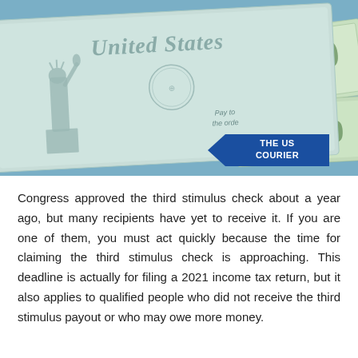[Figure (photo): Photo of a United States Treasury stimulus check partially overlapping $100 dollar bills on a blue background. The check shows 'United States' text, Statue of Liberty engraving, eagle seal, and 'Pay to the order' text. Dollar bills show 'FEDERAL RESERVE', serial number 'LE 8468151', and denomination '100'. A blue banner logo in bottom right reads 'THE US COURIER' with a left-pointing triangle arrow.]
Congress approved the third stimulus check about a year ago, but many recipients have yet to receive it. If you are one of them, you must act quickly because the time for claiming the third stimulus check is approaching. This deadline is actually for filing a 2021 income tax return, but it also applies to qualified people who did not receive the third stimulus payout or who may owe more money.